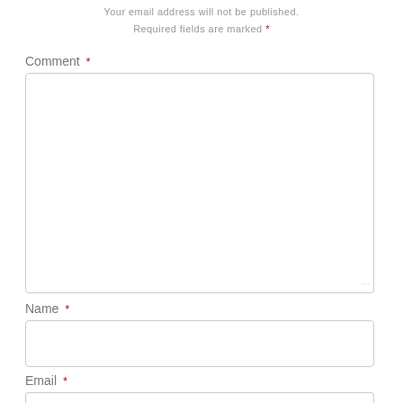Your email address will not be published.
Required fields are marked *
Comment *
[Figure (other): Large empty comment textarea input box with resize handle at bottom right]
Name *
[Figure (other): Single-line name text input box]
Email *
[Figure (other): Single-line email text input box (partially visible at bottom)]